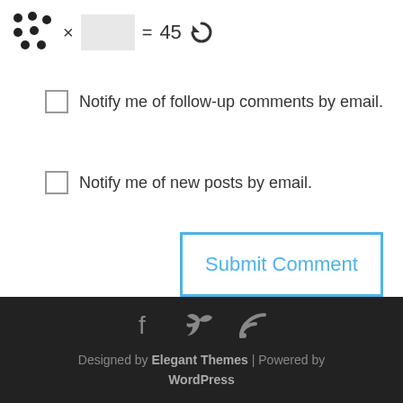[Figure (other): CAPTCHA widget: dots image × input box = 45 with refresh icon]
Notify me of follow-up comments by email.
Notify me of new posts by email.
Submit Comment
Designed by Elegant Themes | Powered by WordPress